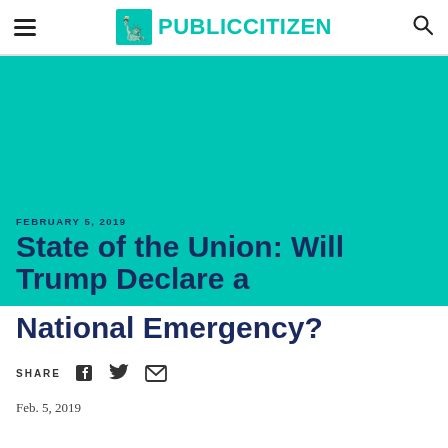PUBLIC CITIZEN
[Figure (illustration): Public Citizen logo with Statue of Liberty graphic and teal PUBLICCITIZEN wordmark]
FEBRUARY 5, 2019
State of the Union: Will Trump Declare a National Emergency?
SHARE
Feb. 5, 2019